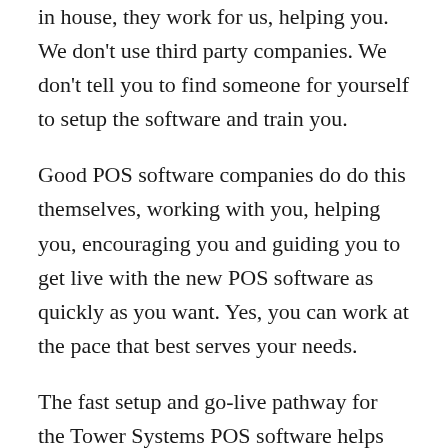in house, they work for us, helping you. We don't use third party companies. We don't tell you to find someone for yourself to setup the software and train you.
Good POS software companies do do this themselves, working with you, helping you, encouraging you and guiding you to get live with the new POS software as quickly as you want. Yes, you can work at the pace that best serves your needs.
The fast setup and go-live pathway for the Tower Systems POS software helps businesses that need it now, need to be live today, need to be transacting sales right away. All of us here at Tower Systems will do our best to make this happen for you, to satisfy